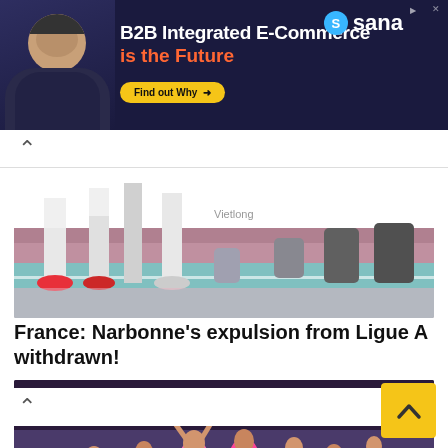[Figure (advertisement): B2B Integrated E-Commerce advertisement banner with dark navy background, person smiling on left, Sana logo top right, orange 'Find out Why' button]
[Figure (photo): Partial photo of volleyball players' legs and feet on a court with pink flooring]
France: Narbonne's expulsion from Ligue A withdrawn!
[Figure (photo): Volleyball team celebrating in pink jerseys holding French and Brazilian flags, CEV branding visible in background]